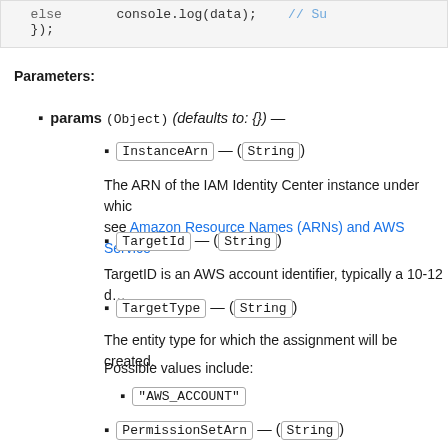else   console.log(data);  // Su...
});
Parameters:
params (Object) (defaults to: {}) —
InstanceArn — (String)
The ARN of the IAM Identity Center instance under which... see Amazon Resource Names (ARNs) and AWS Service...
TargetId — (String)
TargetID is an AWS account identifier, typically a 10-12 d...
TargetType — (String)
The entity type for which the assignment will be created.
Possible values include:
"AWS_ACCOUNT"
PermissionSetArn — (String)